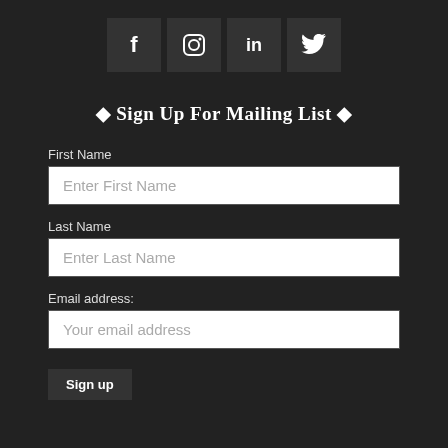[Figure (other): Social media icons: Facebook (f), Instagram (circle icon), LinkedIn (in), Twitter (bird icon) — displayed as square dark buttons in a row]
◆ Sign Up For Mailing List ◆
First Name
Enter First Name
Last Name
Enter Last Name
Email address:
Your email address
Sign up